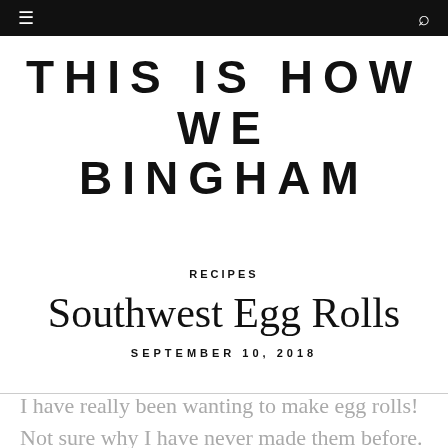≡  🔍
THIS IS HOW WE BINGHAM
RECIPES
Southwest Egg Rolls
SEPTEMBER 10, 2018
I have really been wanting to make egg rolls! Not sure why I have never made them before. I think